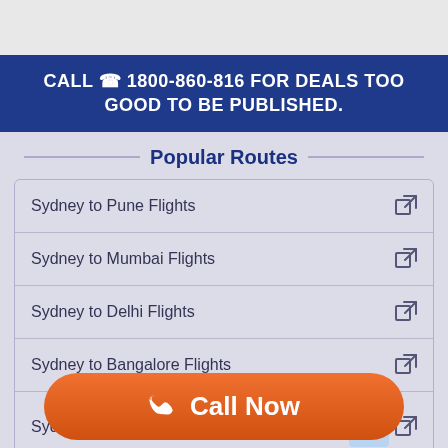CALL ☎ 1800-860-816 FOR DEALS TOO GOOD TO BE PUBLISHED.
Popular Routes
Sydney to Pune Flights
Sydney to Mumbai Flights
Sydney to Delhi Flights
Sydney to Bangalore Flights
Sydney to Hyderabad Flights
Call Now